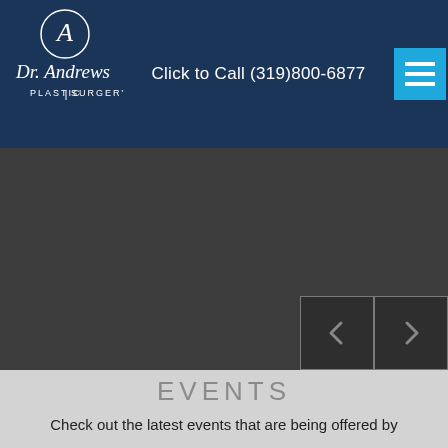Dr. Andrews Plastic Surgery — Click to Call (319)800-6877
[Figure (screenshot): Website screenshot showing Dr. Andrews Plastic Surgery header with logo, phone number, and hamburger menu. Below is a dark gray image slider area with previous/next navigation buttons. Below that is a light gray section with the heading EVENTS and text 'Check out the latest events that are being offered by']
EVENTS
Check out the latest events that are being offered by